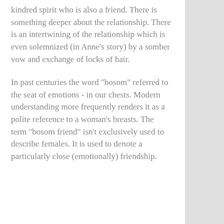kindred spirit who is also a friend. There is something deeper about the relationship. There is an intertwining of the relationship which is even solemnized (in Anne's story) by a somber vow and exchange of locks of hair.
In past centuries the word "bosom" referred to the seat of emotions - in our chests. Modern understanding more frequently renders it as a polite reference to a woman's breasts. The term "bosom friend" isn't exclusively used to describe females. It is used to denote a particularly close (emotionally) friendship.